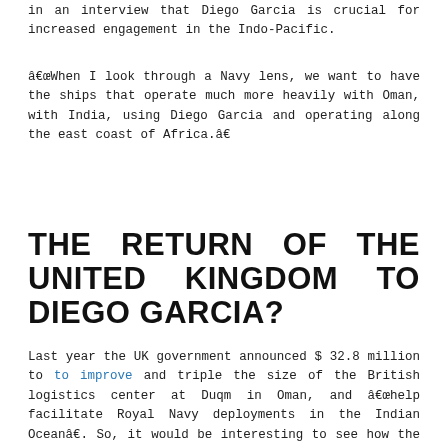in an interview that Diego Garcia is crucial for increased engagement in the Indo-Pacific.
“When I look through a Navy lens, we want to have the ships that operate much more heavily with Oman, with India, using Diego Garcia and operating along the east coast of Africa.”
THE RETURN OF THE UNITED KINGDOM TO DIEGO GARCIA?
Last year the UK government announced $ 32.8 million to improve and triple the size of the British logistics center at Duqm in Oman, and “help facilitate Royal Navy deployments in the Indian Ocean”. So, it would be interesting to see how the UK’s return to Diego Garcia ties in with the expansion of the Duqm base.